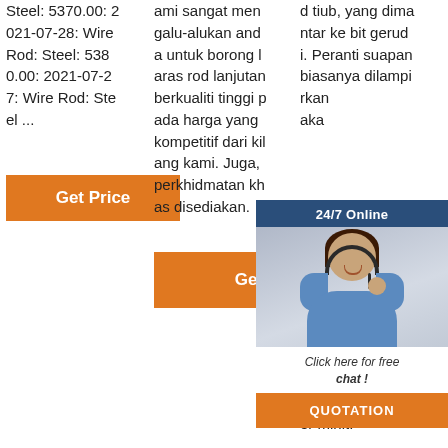Steel: 5370.00: 2021-07-28: Wire Rod: Steel: 5380.00: 2021-07-27: Wire Rod: Steel el ...
Get Price
kami sangat mengalu-alukan and a untuk borong laras rod lanjutan berkualiti tinggi pada harga yang kompetitif dari kilang kami. Juga, perkhidmatan khas disediakan.
Get Price
[Figure (photo): Customer service representative with headset, 24/7 Online chat widget overlay with QUOTATION button]
d tiub, yang dihantar ke bit gerud i. Peranti suapan biasanya dilampirkan akan unit motor iste men eruc 2,000 nga t, dan kelajuan putaran boleh, sebagai contoh, 60-200 pusingan per minit.